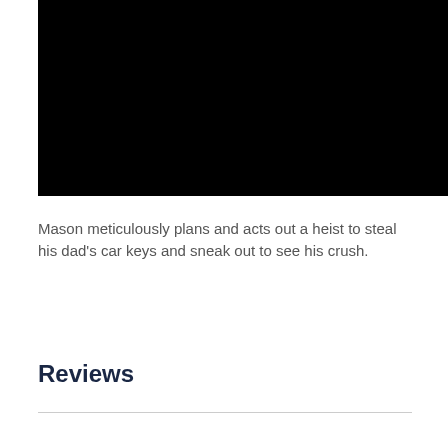[Figure (other): Black video player thumbnail — a fully black rectangle representing a video embed or screenshot]
Mason meticulously plans and acts out a heist to steal his dad's car keys and sneak out to see his crush.
Reviews